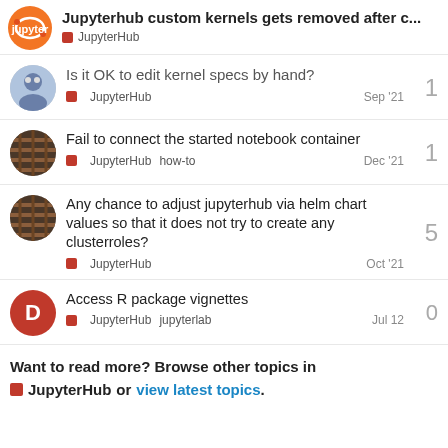Jupyterhub custom kernels gets removed after c... JupyterHub
Is it OK to edit kernel specs by hand? JupyterHub Sep '21 — replies: 1
Fail to connect the started notebook container JupyterHub how-to Dec '21 — replies: 1
Any chance to adjust jupyterhub via helm chart values so that it does not try to create any clusterroles? JupyterHub Oct '21 — replies: 5
Access R package vignettes JupyterHub jupyterlab Jul 12 — replies: 0
Want to read more? Browse other topics in JupyterHub or view latest topics.